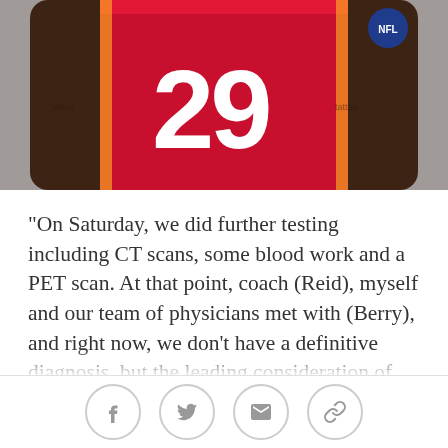[Figure (photo): Kansas City Chiefs football player wearing red jersey number 29, cropped to show torso and arms]
"On Saturday, we did further testing including CT scans, some blood work and a PET scan. At that point, coach (Reid), myself and our team of physicians met with (Berry), and right now, we don't have a definitive diagnosis, but the leading consideration of what he has right now is lymphoma.
"The next step in the process is to finish some testing."
Burkholder praised the work done by all of those involved in helping get Berry and his family the information needed as soon as possible.